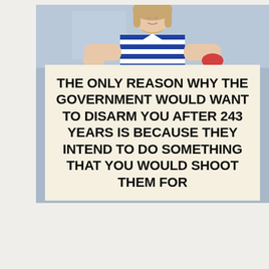[Figure (photo): A young woman with blonde hair wearing a blue and white striped top, holding a large beige sign with bold black text reading: THE ONLY REASON WHY THE GOVERNMENT WOULD WANT TO DISARM YOU AFTER 243 YEARS IS BECAUSE THEY INTEND TO DO SOMETHING THAT YOU WOULD SHOOT THEM FOR]
SO THE VACCINE DOESN'T STOP SPREADING OF THE VIRUS